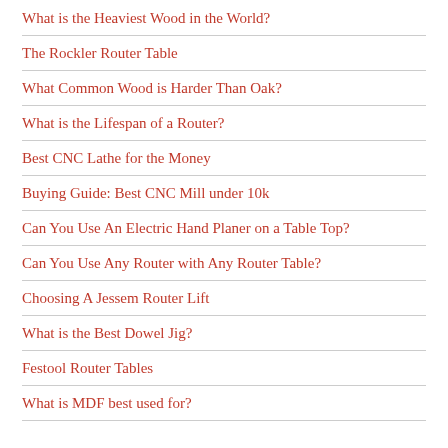What is the Heaviest Wood in the World?
The Rockler Router Table
What Common Wood is Harder Than Oak?
What is the Lifespan of a Router?
Best CNC Lathe for the Money
Buying Guide: Best CNC Mill under 10k
Can You Use An Electric Hand Planer on a Table Top?
Can You Use Any Router with Any Router Table?
Choosing A Jessem Router Lift
What is the Best Dowel Jig?
Festool Router Tables
What is MDF best used for?